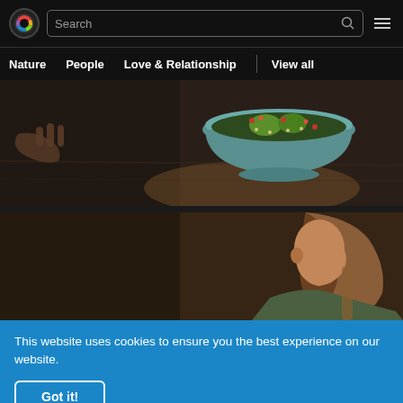[Figure (screenshot): Website header with colorful C logo, search bar with magnifying glass icon, and hamburger menu icon on dark background]
Nature  People  Love & Relationship | View all
[Figure (photo): Dark moody photo of a blue bowl filled with colorful food (possibly a grain bowl with avocado and pomegranate) on a dark wooden surface with a hand visible]
[Figure (photo): Dark atmospheric photo of a woman with long brown hair in profile, sitting in a dimly lit room]
This website uses cookies to ensure you the best experience on our website.
Got it!